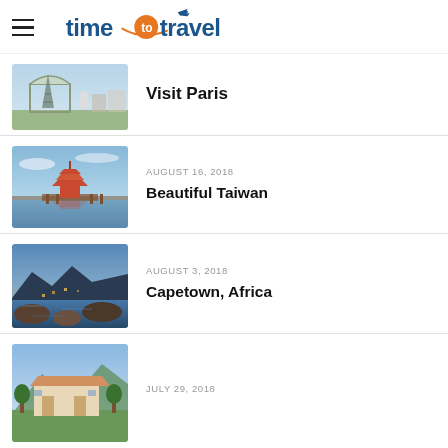time to travel
Visit Paris
AUGUST 16, 2018 — Beautiful Taiwan
AUGUST 3, 2018 — Capetown, Africa
JULY 29, 2018